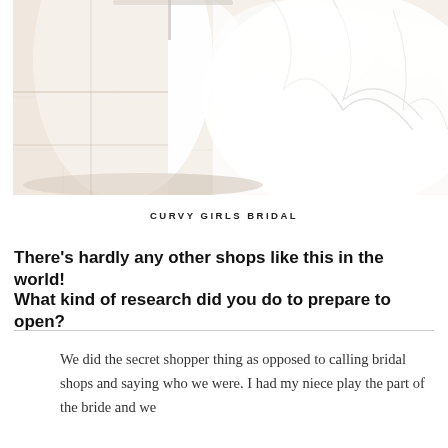[Figure (photo): Close-up photograph of a white wedding dress with ruffled fabric detail, shown against a tiled floor background. The image is bright and high-key.]
CURVY GIRLS BRIDAL
There's hardly any other shops like this in the world!
What kind of research did you do to prepare to open?
We did the secret shopper thing as opposed to calling bridal shops and saying who we were. I had my niece play the part of the bride and we